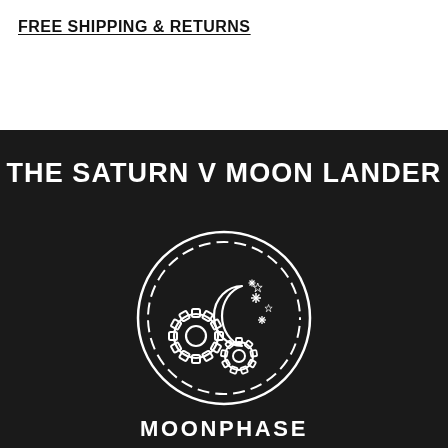FREE SHIPPING & RETURNS
THE SATURN V MOON LANDER
[Figure (logo): Circular logo with gears, a crescent moon, and stars — mechanical moon phase emblem in white outline on dark background]
MOONPHASE